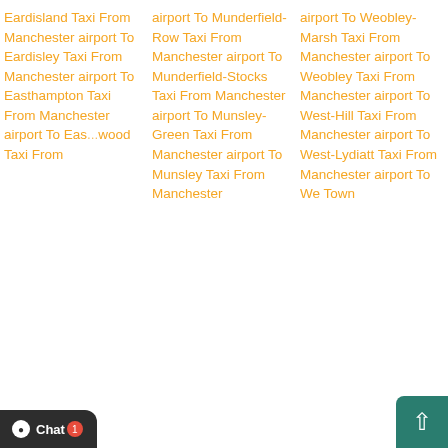Eardisland Taxi From Manchester airport To Eardisley Taxi From Manchester airport To Easthampton Taxi From Manchester...
airport To Munderfield-Row Taxi From Manchester airport To Munderfield-Stocks Taxi From Manchester airport To Munsley-Green Taxi From Manchester airport To Munsley Taxi From Manchester
airport To Weobley-Marsh Taxi From Manchester airport To Weobley Taxi From Manchester airport To West-Hill Taxi From Manchester airport To West-Lydiatt Taxi From Manchester airport To We... Town
[Figure (screenshot): Live chat popup widget with message: Hello there! Good Day! We have Hidden offers on most of our routes. interested to know what lies on... Type input bar with emoji/attachment icons. Chat Now button.]